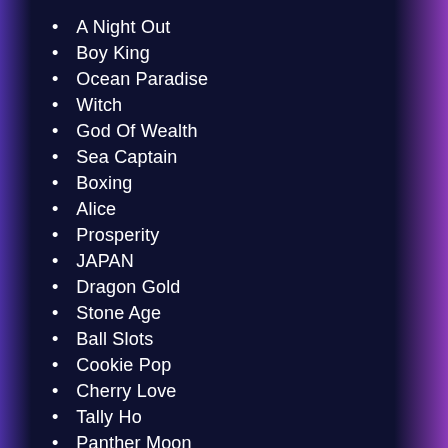A Night Out
Boy King
Ocean Paradise
Witch
God Of Wealth
Sea Captain
Boxing
Alice
Prosperity
JAPAN
Dragon Gold
Stone Age
Ball Slots
Cookie Pop
Cherry Love
Tally Ho
Panther Moon